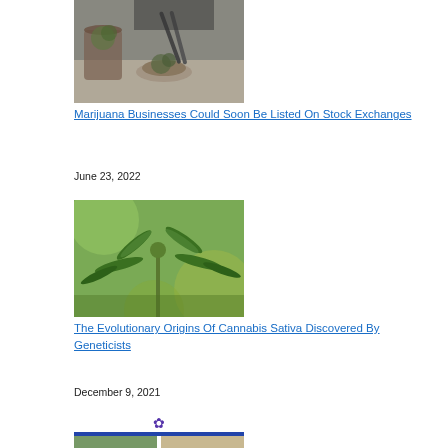[Figure (photo): Person using tongs to handle cannabis buds in glass jars on a counter]
Marijuana Businesses Could Soon Be Listed On Stock Exchanges
June 23, 2022
[Figure (photo): Close-up of cannabis sativa plant with green leaves, blurred background]
The Evolutionary Origins Of Cannabis Sativa Discovered By Geneticists
December 9, 2021
[Figure (photo): Collage with cannabis leaf icon at top, blue bar, and two photos of cannabis plants below]